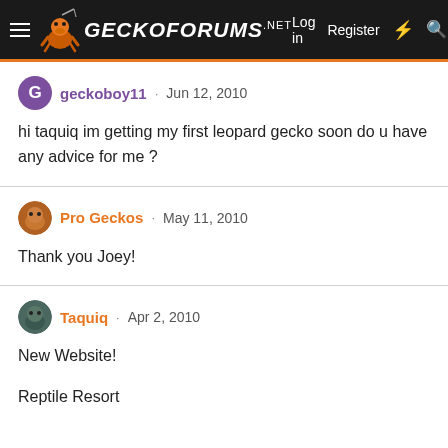GECKOFORUMS.NET — Log in | Register
geckoboy11 · Jun 12, 2010
hi taquiq im getting my first leopard gecko soon do u have any advice for me ?
Pro Geckos · May 11, 2010
Thank you Joey!
Taquiq · Apr 2, 2010
New Website!

Reptile Resort